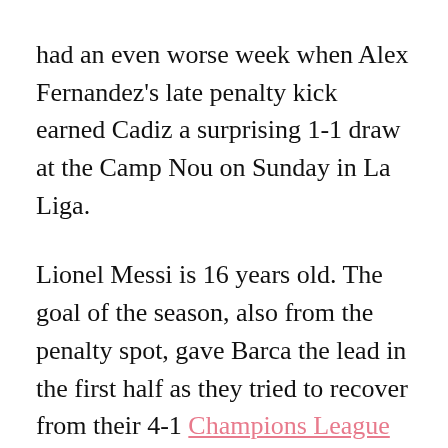had an even worse week when Alex Fernandez's late penalty kick earned Cadiz a surprising 1-1 draw at the Camp Nou on Sunday in La Liga.
Lionel Messi is 16 years old. The goal of the season, also from the penalty spot, gave Barca the lead in the first half as they tried to recover from their 4-1 Champions League defeat against Paris Saint Germain midweek.
Barca's chances to double their lead were used to pay for their overzealous approach when